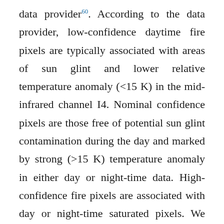data provider⁶⁰. According to the data provider, low-confidence daytime fire pixels are typically associated with areas of sun glint and lower relative temperature anomaly (<15 K) in the mid-infrared channel I4. Nominal confidence pixels are those free of potential sun glint contamination during the day and marked by strong (>15 K) temperature anomaly in either day or night-time data. High-confidence fire pixels are associated with day or night-time saturated pixels. We included only the nominal and high-confidence pixels and omitted the low-confidence observations (13.88% of all pixels), possibly omitting some smaller fires, to make sure our predictions are conservative. This might have increased the zero observations in our dataset, something we consequently